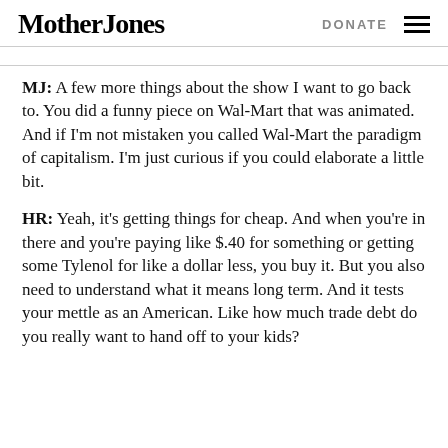Mother Jones | DONATE
MJ: A few more things about the show I want to go back to. You did a funny piece on Wal-Mart that was animated. And if I'm not mistaken you called Wal-Mart the paradigm of capitalism. I'm just curious if you could elaborate a little bit.
HR: Yeah, it's getting things for cheap. And when you're in there and you're paying like $.40 for something or getting some Tylenol for like a dollar less, you buy it. But you also need to understand what it means long term. And it tests your mettle as an American. Like how much trade debt do you really want to hand off to your kids?